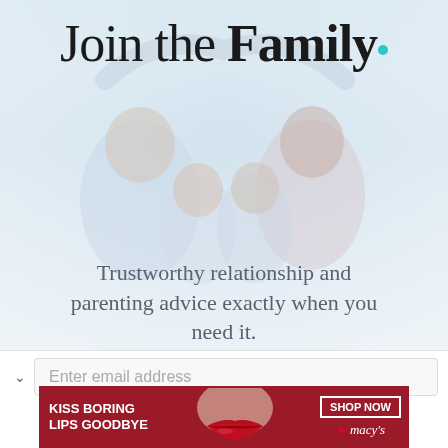Join the Family
[Figure (photo): Family of four — father, mother, two children — smiling together with arms raised forming a heart shape, soft light background]
Trustworthy relationship and parenting advice exactly when you need it.
Enter email address
[Figure (infographic): Macy's banner advertisement: KISS BORING LIPS GOODBYE with image of lips and SHOP NOW button and Macy's star logo]